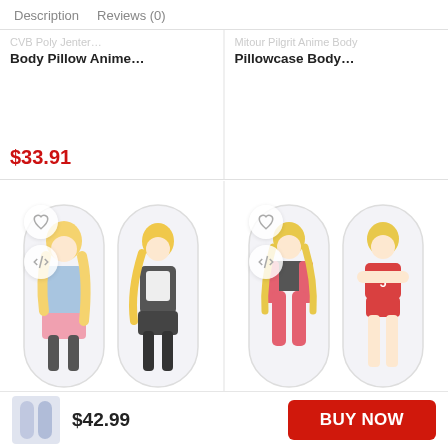Description   Reviews (0)
Body Pillow Anime...
Pillowcase Body...
$33.91
[Figure (photo): Anime body pillow showing two blonde girl anime characters, one in blue jacket and skirt, one in dark school uniform, on a white pillow]
TTYDJ Crazy Man Otaku Male Anime Body Pillow...
[Figure (photo): Anime body pillow showing two Haikyuu Kenma characters in pink/red clothing on a white pillow]
Haikyuu Nekoma High Kenma Kozume Body...
$42.99
BUY NOW